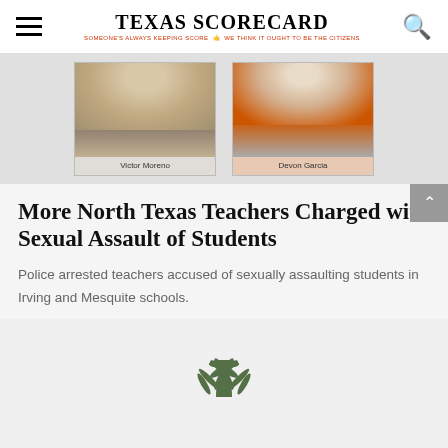TEXAS SCORECARD — SOMEONE'S ALWAYS KEEPING SCORE — WE THINK IT OUGHT TO BE THE CITIZENS
[Figure (photo): Two mugshot photos side by side: Victor Moreno (left, plain clothes) and Devon Garcia (right, orange jumpsuit), both males]
More North Texas Teachers Charged with Sexual Assault of Students
Police arrested teachers accused of sexually assaulting students in Irving and Mesquite schools.
[Figure (photo): Partial image of a plant visible at the bottom of the page]